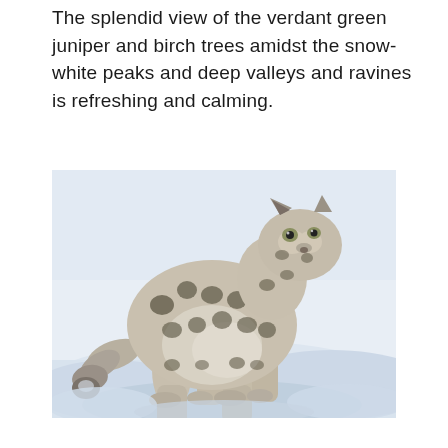The splendid view of the verdant green juniper and birch trees amidst the snow-white peaks and deep valleys and ravines is refreshing and calming.
[Figure (photo): A snow leopard standing on snow, facing right, with spotted fur pattern and a thick tail curled to the left side. The background is a snowy landscape.]